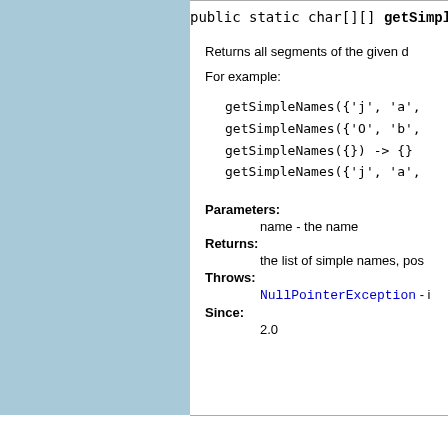public static char[][] getSimpl
Returns all segments of the given d
For example:
getSimpleNames({'j', 'a',
getSimpleNames({'O', 'b',
getSimpleNames({}) -> {}
getSimpleNames({'j', 'a',
Parameters:
name - the name
Returns:
the list of simple names, pos
Throws:
NullPointerException - i
Since:
2.0